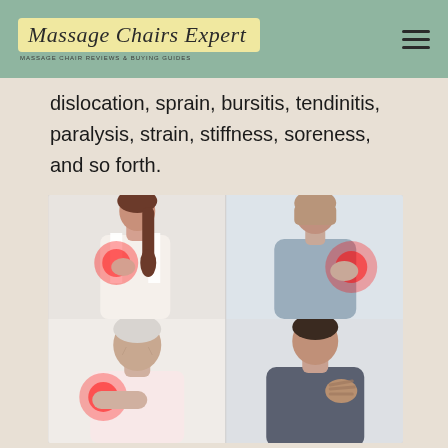Massage Chairs Expert
dislocation, sprain, bursitis, tendinitis, paralysis, strain, stiffness, soreness, and so forth.
[Figure (photo): A 2x2 grid of four photos showing people with shoulder pain: top-left shows a woman from behind touching her upper arm/shoulder with a red pain indicator; top-right shows a woman from behind touching her shoulder with a red glow on the shoulder; bottom-left shows an elderly man holding his shoulder with red pain indicator; bottom-right shows a man in a dark shirt holding his shoulder.]